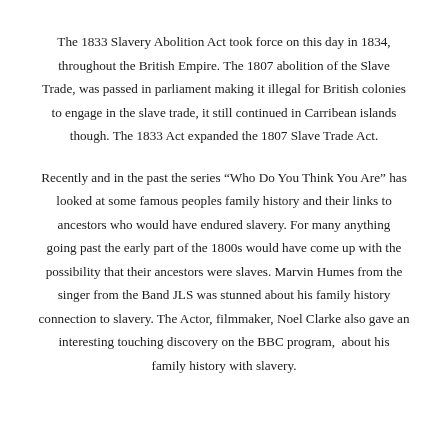The 1833 Slavery Abolition Act took force on this day in 1834, throughout the British Empire. The 1807 abolition of the Slave Trade, was passed in parliament making it illegal for British colonies to engage in the slave trade, it still continued in Carribean islands though. The 1833 Act expanded the 1807 Slave Trade Act.
Recently and in the past the series “Who Do You Think You Are” has looked at some famous peoples family history and their links to ancestors who would have endured slavery. For many anything going past the early part of the 1800s would have come up with the possibility that their ancestors were slaves. Marvin Humes from the singer from the Band JLS was stunned about his family history connection to slavery. The Actor, filmmaker, Noel Clarke also gave an interesting touching discovery on the BBC program,  about his family history with slavery.